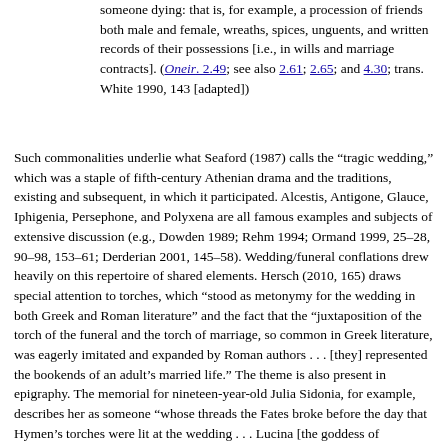someone dying: that is, for example, a procession of friends both male and female, wreaths, spices, unguents, and written records of their possessions [i.e., in wills and marriage contracts]. (Oneir. 2.49; see also 2.61; 2.65; and 4.30; trans. White 1990, 143 [adapted])
Such commonalities underlie what Seaford (1987) calls the "tragic wedding," which was a staple of fifth-century Athenian drama and the traditions, existing and subsequent, in which it participated. Alcestis, Antigone, Glauce, Iphigenia, Persephone, and Polyxena are all famous examples and subjects of extensive discussion (e.g., Dowden 1989; Rehm 1994; Ormand 1999, 25–28, 90–98, 153–61; Derderian 2001, 145–58). Wedding/funeral conflations drew heavily on this repertoire of shared elements. Hersch (2010, 165) draws special attention to torches, which "stood as metonymy for the wedding in both Greek and Roman literature" and the fact that the "juxtaposition of the torch of the funeral and the torch of marriage, so common in Greek literature, was eagerly imitated and expanded by Roman authors . . . [they] represented the bookends of an adult's married life." The theme is also present in epigraphy. The memorial for nineteen-year-old Julia Sidonia, for example, describes her as someone "whose threads the Fates broke before the day that Hymen's torches were lit at the wedding . . . Lucina [the goddess of childbirth] wept for the quenched fire of her torch, for she was anticipating her long-awaited child" (CLE 1097